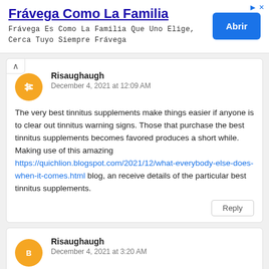[Figure (other): Advertisement banner for Frávega Como La Familia with blue Abrir button]
Risaughaugh
December 4, 2021 at 12:09 AM
The very best tinnitus supplements make things easier if anyone is to clear out tinnitus warning signs. Those that purchase the best tinnitus supplements becomes favored produces a short while. Making use of this amazing https://quichlion.blogspot.com/2021/12/what-everybody-else-does-when-it-comes.html blog, an receive details of the particular best tinnitus supplements.
Reply
Risaughaugh
December 4, 2021 at 3:20 AM